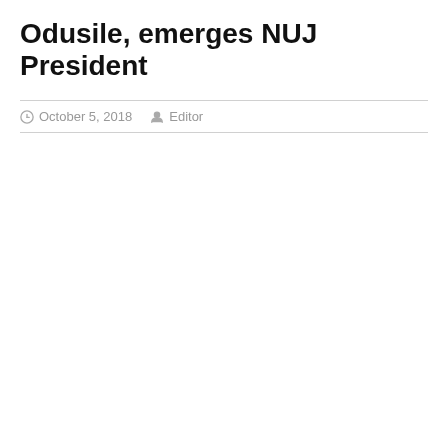Odusile, emerges NUJ President
October 5, 2018   Editor